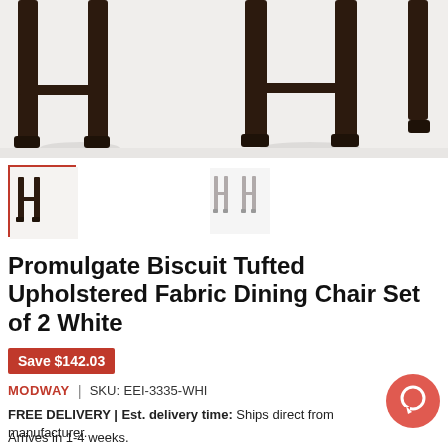[Figure (photo): Bottom portion of two upholstered dining chairs with dark espresso wooden legs on white background]
[Figure (photo): Small thumbnail showing selected product view with red border]
[Figure (photo): Small thumbnail showing alternate product view]
Promulgate Biscuit Tufted Upholstered Fabric Dining Chair Set of 2 White
Save $142.03
MODWAY  |  SKU: EEI-3335-WHI
FREE DELIVERY | Est. delivery time: Ships direct from manufacturer.
Arrives in 1-4 weeks.